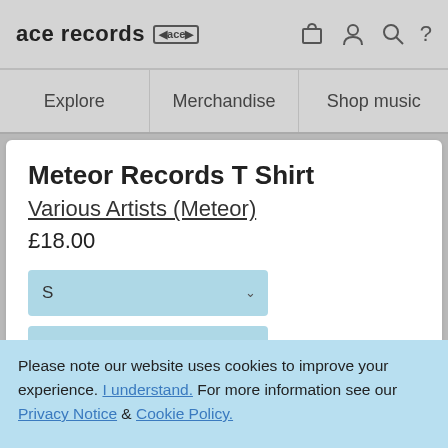ace records [ace logo] [cart] [user] [search] [?]
Explore
Merchandise
Shop music
Meteor Records T Shirt
Various Artists (Meteor)
£18.00
S (dropdown)
Cardinal Rec (dropdown)
Please note our website uses cookies to improve your experience. I understand. For more information see our Privacy Notice & Cookie Policy.